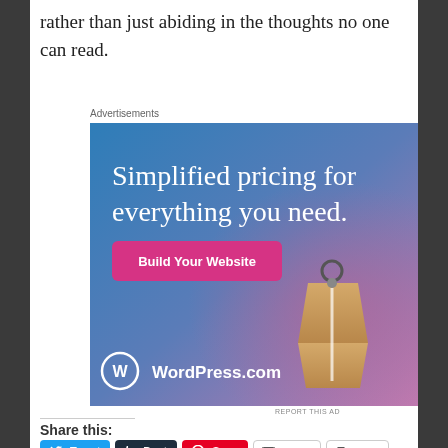rather than just abiding in the thoughts no one can read.
Advertisements
[Figure (photo): WordPress.com advertisement banner with gradient blue-purple background, text: 'Simplified pricing for everything you need.' with a pink 'Build Your Website' button and a price tag illustration. WordPress.com logo at bottom left.]
REPORT THIS AD
Share this:
Tweet
Post
Save
Email
Print